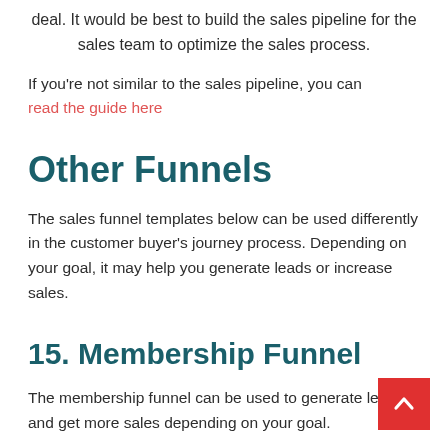deal. It would be best to build the sales pipeline for the sales team to optimize the sales process.
If you're not similar to the sales pipeline, you can read the guide here
Other Funnels
The sales funnel templates below can be used differently in the customer buyer's journey process. Depending on your goal, it may help you generate leads or increase sales.
15. Membership Funnel
The membership funnel can be used to generate leads and get more sales depending on your goal.